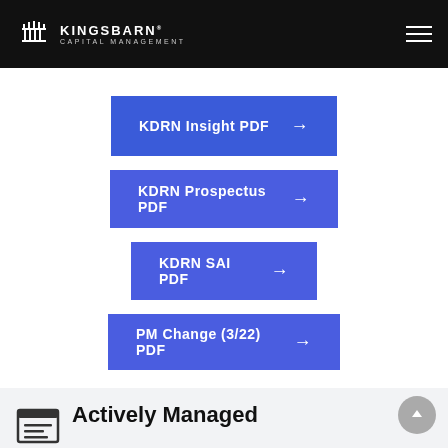Kingsbarn Capital Management
KDRN Insight PDF →
KDRN Prospectus PDF →
KDRN SAI PDF →
PM Change (3/22) PDF →
Actively Managed